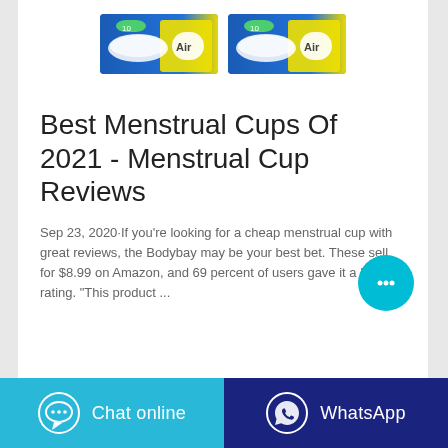[Figure (photo): Two product packages of menstrual pads/feminine hygiene products shown side by side at the top of the card]
Best Menstrual Cups Of 2021 - Menstrual Cup Reviews
Sep 23, 2020·If you're looking for a cheap menstrual cup with great reviews, the Bodybay may be your best bet. These sell for $8.99 on Amazon, and 69 percent of users gave it a 5-star rating. “This product ...
[Figure (other): Cyan chat bubble floating action button with ellipsis icon]
[Figure (other): Bottom bar with two buttons: Chat online (cyan) and WhatsApp (dark blue)]